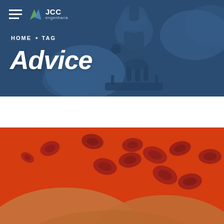[Figure (photo): Hero banner with dark blue overlay showing a scientist in blue gloves operating a microscope]
≡  JCC engenharia
HOME • TAG
Advice
[Figure (photo): Close-up 3D illustration of red blood cells on an orange-red background, flowing along a surface]